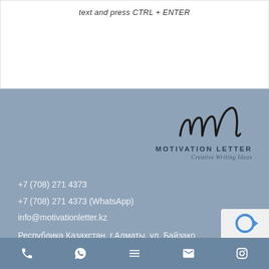text and press CTRL + ENTER
[Figure (logo): Motivation Letter logo with script 'ml' and text 'MOTIVATION LETTER Creative Writing Ideas']
+7 (708) 271 4373
+7 (708) 271 4373 (WhatsApp)
info@motivationletter.kz
Республика Казахстан, г.Алматы, ул. Байзако...
[Figure (infographic): Bottom navigation bar with phone, WhatsApp, menu, email, and Instagram icons]
[Figure (other): reCAPTCHA badge (partial, bottom right)]